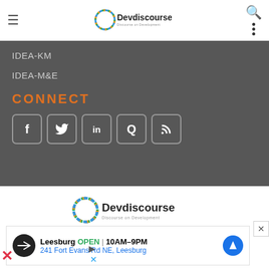Devdiscourse — Discourse on Development (header navigation bar)
IDEA-KM
IDEA-M&E
CONNECT
[Figure (infographic): Social media icon buttons: Facebook, Twitter, LinkedIn, Quora, RSS feed]
[Figure (logo): Devdiscourse logo — Discourse on Development]
Email: info@devdiscourse.com
[Figure (infographic): Advertisement banner: Leesburg OPEN 10AM–9PM, 241 Fort Evans Rd NE, Leesburg]